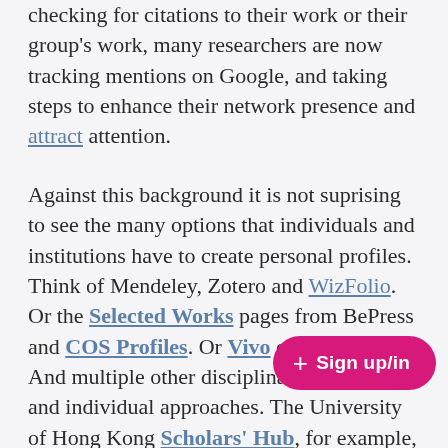checking for citations to their work or their group's work, many researchers are now tracking mentions on Google, and taking steps to enhance their network presence and attract attention.
Against this background it is not suprising to see the many options that individuals and institutions have to create personal profiles. Think of Mendeley, Zotero and WizFolio. Or the Selected Works pages from BePress and COS Profiles. Or Vivo or BibApp. And multiple other disciplinary, insitutional and individual approaches. The University of Hong Kong Scholars' Hub, for example, includes local data along side data pulled from Scopus and Web of Science, making HKU authors and their research very visible".